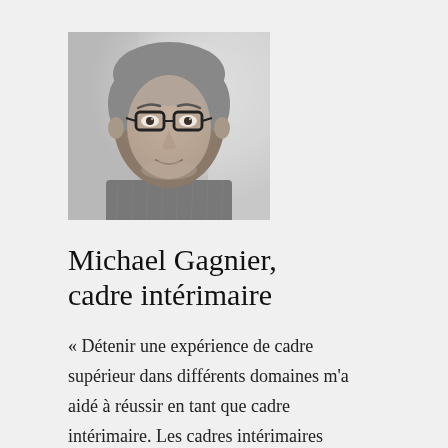[Figure (photo): Black and white headshot photo of Michael Gagnier, an older man with short grey hair and glasses, wearing a checkered shirt, with a blurred background.]
Michael Gagnier, cadre intérimaire
« Détenir une expérience de cadre supérieur dans différents domaines m'a aidé à réussir en tant que cadre intérimaire. Les cadres intérimaires doivent